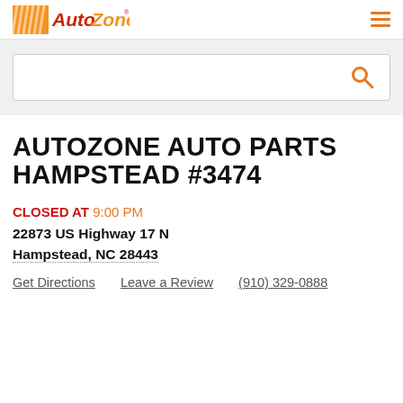AutoZone
[Figure (other): Search input box with orange search icon]
AUTOZONE AUTO PARTS HAMPSTEAD #3474
CLOSED AT 9:00 PM
22873 US Highway 17 N
Hampstead, NC 28443
Get Directions   Leave a Review   (910) 329-0888